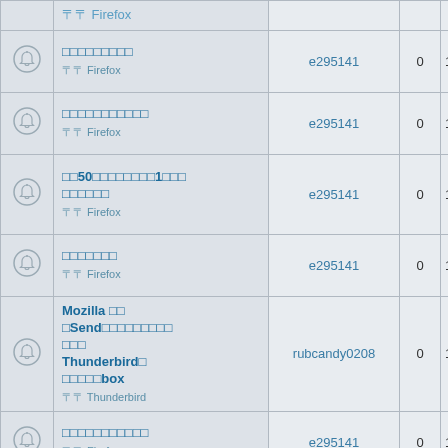|  | Title | User | Num | ID |
| --- | --- | --- | --- | --- |
| [bell] | [squiggle text]
〒 Firefox | e295141 | 0 | 18960 |
| [bell] | [squiggle text]
〒 Firefox | e295141 | 0 | 19493 |
| [bell] | 〒50〒〒〒〒〒〒1〒〒〒
〒〒〒〒〒〒
〒〒 Firefox | e295141 | 0 | 19121 |
| [bell] | [squiggle text]
〒〒 Firefox | e295141 | 0 | 18632 |
| [bell] | Mozilla 〒〒
〒Send〒〒〒〒〒〒〒〒
〒〒〒
Thunderbird〒
〒〒〒〒〒box
〒〒 Thunderbird | rubcandy0208 | 0 | 15947 |
| [bell] | [squiggle text]
〒〒 Firefox | e295141 | 0 | 18887 |
| [bell] | [squiggle text]
〒〒 Firefox | e295141 | 0 | 20589 |
| [bell] | ublock |  |  |  |